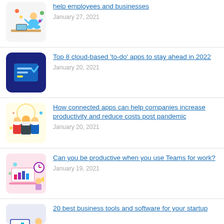help employees and businesses
January 27, 2021
Top 8 cloud-based 'to-do' apps to stay ahead in 2022
January 20, 2021
How connected apps can help companies increase productivity and reduce costs post pandemic
January 20, 2021
Can you be productive when you use Teams for work?
January 19, 2021
20 best business tools and software for your startup